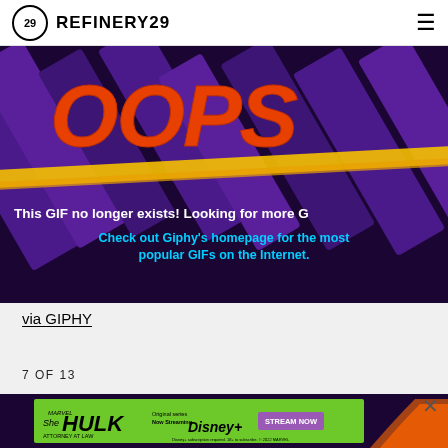REFINERY29
[Figure (illustration): Giphy 'OOPS' error page: dark purple background with diagonal geometric stripe shapes, large orange-red graffiti-style text reading 'OOPS', a yellow diagonal brush stroke, white bold text 'This GIF no longer exists! Looking for more G', and cyan text 'Check out Giphy's homepage for the most popular GIFs on the Internet.']
via GIPHY
7 OF 13
[Figure (photo): Dark purple background with a She-Hulk: Attorney at Law advertisement banner in green, featuring Disney+ streaming promotion with 'STREAM NOW' button, and orange animated figure on right edge.]